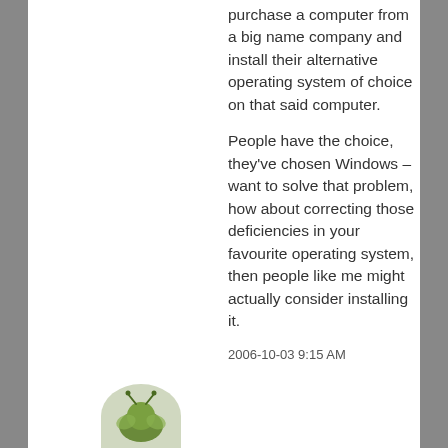purchase a computer from a big name company and install their alternative operating system of choice on that said computer.
People have the choice, they've chosen Windows – want to solve that problem, how about correcting those deficiencies in your favourite operating system, then people like me might actually consider installing it.
2006-10-03 9:15 AM